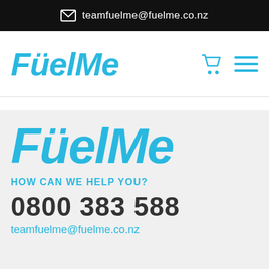teamfuelme@fuelme.co.nz
[Figure (logo): FuelMe logo in cyan italic bold font]
[Figure (logo): FuelMe large logo in cyan italic bold font in footer section]
HOW CAN WE HELP YOU?
0800 383 588
teamfuelme@fuelme.co.nz